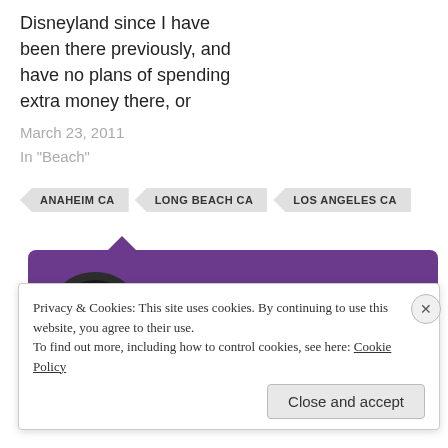Disneyland since I have been there previously, and have no plans of spending extra money there, or
March 23, 2011
In "Beach"
ANAHEIM CA
LONG BEACH CA
LOS ANGELES CA
[Figure (illustration): Purple author card with teal/white geometric avatar icon and text 'Published by solewalker' and 'View all posts by solewalker']
Privacy & Cookies: This site uses cookies. By continuing to use this website, you agree to their use.
To find out more, including how to control cookies, see here: Cookie Policy
Close and accept